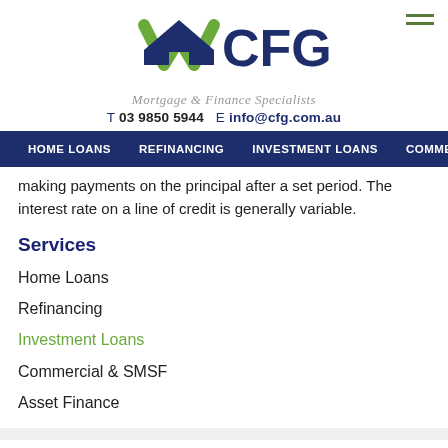WCFG Mortgage & Finance Specialists T 03 9850 5944 E info@cfg.com.au
HOME LOANS | REFINANCING | INVESTMENT LOANS | COMMERCIAL & SMSF
making payments on the principal after a set period. The interest rate on a line of credit is generally variable.
Services
Home Loans
Refinancing
Investment Loans
Commercial & SMSF
Asset Finance
[Figure (logo): NAB bank logo - red star with nab text]
[Figure (logo): ANZ bank logo - blue ANZ with teal swirl]
[Figure (logo): Commonwealth Bank logo - partial yellow diamond with CBA text]